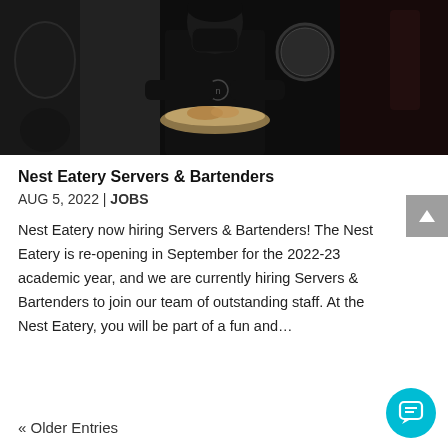[Figure (photo): A person wearing a black mask and black clothing holding a plate of food in a dark restaurant kitchen setting]
Nest Eatery Servers & Bartenders
AUG 5, 2022 | JOBS
Nest Eatery now hiring Servers & Bartenders! The Nest Eatery is re-opening in September for the 2022-23 academic year, and we are currently hiring Servers & Bartenders to join our team of outstanding staff. At the Nest Eatery, you will be part of a fun and...
« Older Entries